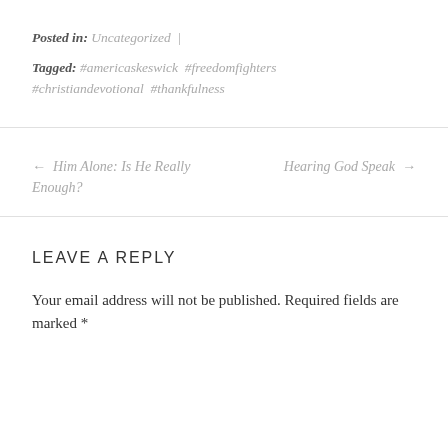Posted in: Uncategorized |
Tagged: #americaskeswick #freedomfighters #christiandevotional #thankfulness
← Him Alone: Is He Really Enough?
Hearing God Speak →
LEAVE A REPLY
Your email address will not be published. Required fields are marked *